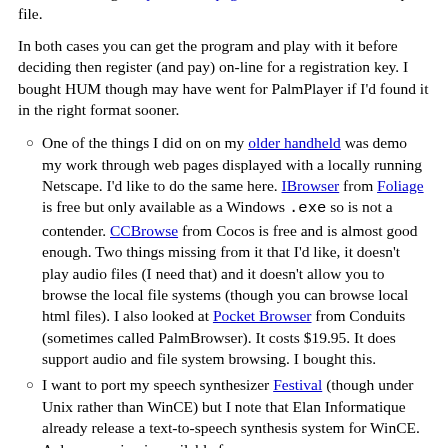available through http://www.mpegtv.com. This comes as a zip file.
In both cases you can get the program and play with it before deciding then register (and pay) on-line for a registration key. I bought HUM though may have went for PalmPlayer if I'd found it in the right format sooner.
One of the things I did on on my older handheld was demo my work through web pages displayed with a locally running Netscape. I'd like to do the same here. IBrowser from Foliage is free but only available as a Windows .exe so is not a contender. CCBrowse from Cocos is free and is almost good enough. Two things missing from it that I'd like, it doesn't play audio files (I need that) and it doesn't allow you to browse the local file systems (though you can browse local html files). I also looked at Pocket Browser from Conduits (sometimes called PalmBrowser). It costs $19.95. It does support audio and file system browsing. I bought this.
I want to port my speech synthesizer Festival (though under Unix rather than WinCE) but I note that Elan Informatique already release a text-to-speech synthesis system for WinCE. A demo version is available from